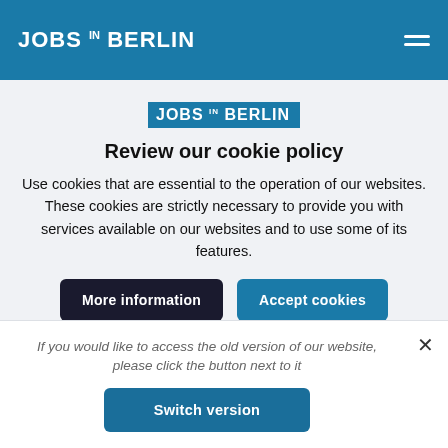JOBS IN BERLIN
JOBS IN BERLIN
Review our cookie policy
Use cookies that are essential to the operation of our websites. These cookies are strictly necessary to provide you with services available on our websites and to use some of its features.
More information
Accept cookies
If you would like to access the old version of our website, please click the button next to it
Switch version